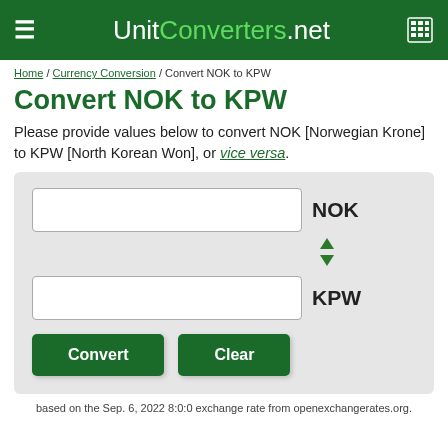UnitConverters.net
Home / Currency Conversion / Convert NOK to KPW
Convert NOK to KPW
Please provide values below to convert NOK [Norwegian Krone] to KPW [North Korean Won], or vice versa.
[Figure (screenshot): Currency converter form with two input fields labeled NOK and KPW, a swap arrows icon, and Convert and Clear buttons]
based on the Sep. 6, 2022 8:0:0 exchange rate from openexchangerates.org.